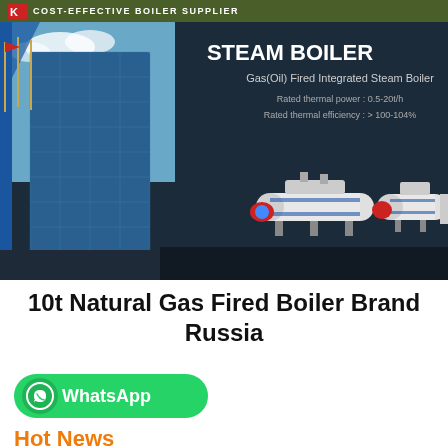COST-EFFECTIVE BOILER SUPPLIER
[Figure (photo): Banner image showing a steam boiler product advertisement with a building on the left, STEAM BOILER heading, Gas(Oil) Fired Integrated Steam Boiler subtitle, rated thermal power 0.5-20t/h, rated thermal efficiency >100-104%, and three industrial boiler units displayed against a dark background.]
10t Natural Gas Fired Boiler Brand Russia
[Figure (other): WhatsApp contact button in green with phone icon and WhatsApp text]
Hot News